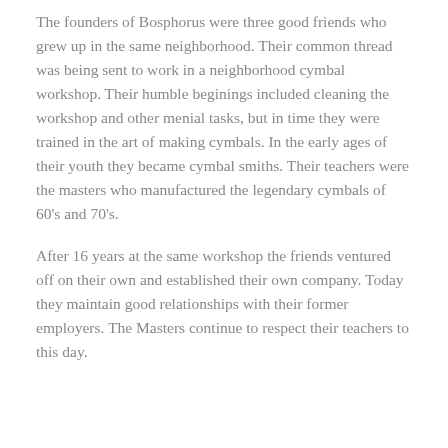The founders of Bosphorus were three good friends who grew up in the same neighborhood. Their common thread was being sent to work in a neighborhood cymbal workshop. Their humble beginings included cleaning the workshop and other menial tasks, but in time they were trained in the art of making cymbals. In the early ages of their youth they became cymbal smiths. Their teachers were the masters who manufactured the legendary cymbals of 60's and 70's.
After 16 years at the same workshop the friends ventured off on their own and established their own company. Today they maintain good relationships with their former employers. The Masters continue to respect their teachers to this day.